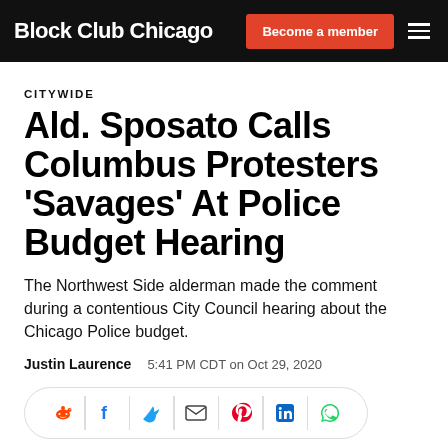Block Club Chicago | Become a member
CITYWIDE
Ald. Sposato Calls Columbus Protesters ‘Savages’ At Police Budget Hearing
The Northwest Side alderman made the comment during a contentious City Council hearing about the Chicago Police budget.
Justin Laurence   5:41 PM CDT on Oct 29, 2020
[Figure (infographic): Social share icons row: Reddit, Facebook, Twitter, Email, Pinterest, LinkedIn, WhatsApp]